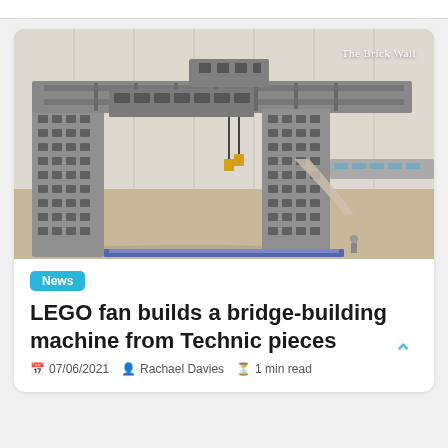[Figure (photo): A large LEGO Technic bridge-building machine constructed from grey Technic pieces, shaped like a gantry crane, sitting on a wooden floor against a white paneled wall. The watermark 'The Brick Wall' appears in the top right corner of the photo.]
News
LEGO fan builds a bridge-building machine from Technic pieces
07/06/2021  Rachael Davies  1 min read